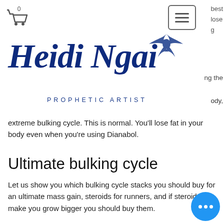[Figure (logo): Shopping cart icon with 0 badge and hamburger menu button, with partial navigation text 'best', 'lose', 'g' visible on right edge]
[Figure (logo): Heidi Ngai Prophetic Artist logo with cursive blue text and bird illustration]
ody, extreme bulking cycle. This is normal. You'll lose fat in your body even when you're using Dianabol.
Ultimate bulking cycle
Let us show you which bulking cycle stacks you should buy for an ultimate mass gain, steroids for runners, and if steroids make you grow bigger you should buy them.
I picked the cycle of strength in general because it's the basic cycle that I've found works best for growth at all levels, bulking